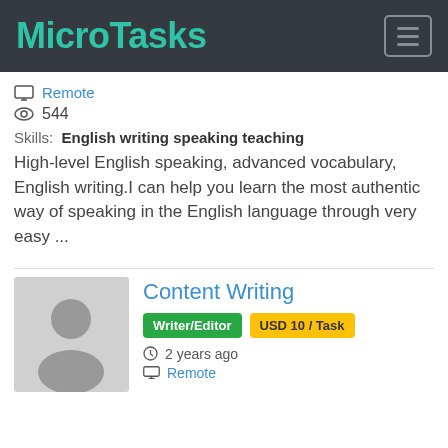MicroTasks
Remote
544
Skills: English writing speaking teaching
High-level English speaking, advanced vocabulary, English writing.I can help you learn the most authentic way of speaking in the English language through very easy ...
[Figure (photo): Default user avatar placeholder with grey silhouette]
Content Writing
Writer/Editor   USD 10 / Task
2 years ago
Remote